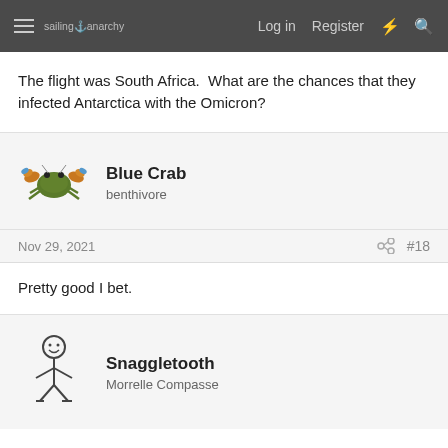sailing anarchy  Log in  Register  #18
The flight was South Africa.  What are the chances that they infected Antarctica with the Omicron?
Blue Crab
benthivore
Nov 29, 2021  #18
Pretty good I bet.
Snaggletooth
Morrelle Compasse